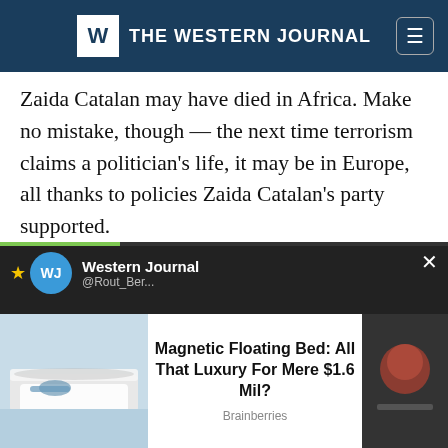THE WESTERN JOURNAL
Zaida Catalan may have died in Africa. Make no mistake, though — the next time terrorism claims a politician's life, it may be in Europe, all thanks to policies Zaida Catalan's party supported.
Please like and share on Facebook and Twitter with your thoughts on this story.
[Figure (screenshot): Western Journal social media widget with profile icon and handle @Rout_Ber, with close button]
[Figure (photo): Advertisement: Magnetic Floating Bed: All That Luxury For Mere $1.6 Mil? — Brainberries, with photo of person lying on floating bed on left, and another image on right]